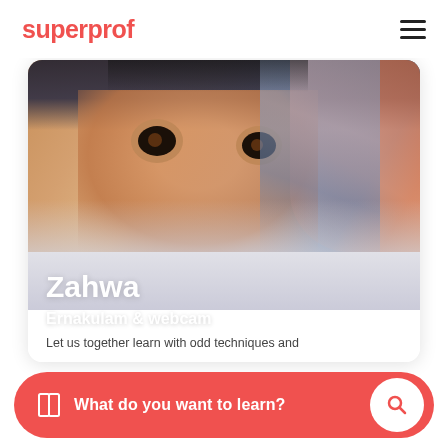superprof
[Figure (photo): Close-up photo of a young girl wearing a dark headscarf, smiling, with warm skin tones. Background shows autumn/orangey colors on the right side.]
Zahwa
Ernakulam & webcam
Let us together learn with odd techniques and challenge ourselves...
What do you want to learn?